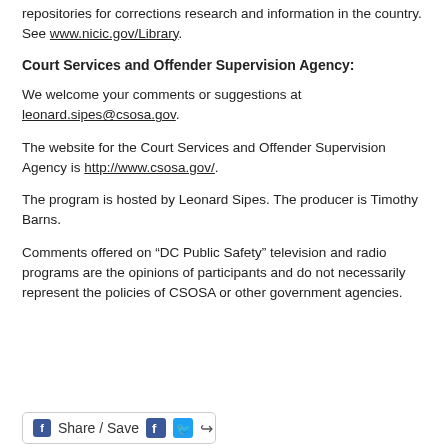repositories for corrections research and information in the country. See www.nicic.gov/Library.
Court Services and Offender Supervision Agency:
We welcome your comments or suggestions at leonard.sipes@csosa.gov.
The website for the Court Services and Offender Supervision Agency is http://www.csosa.gov/.
The program is hosted by Leonard Sipes. The producer is Timothy Barns.
Comments offered on “DC Public Safety” television and radio programs are the opinions of participants and do not necessarily represent the policies of CSOSA or other government agencies.
[Figure (other): Share / Save social sharing bar with Facebook, Twitter, and forward icons]